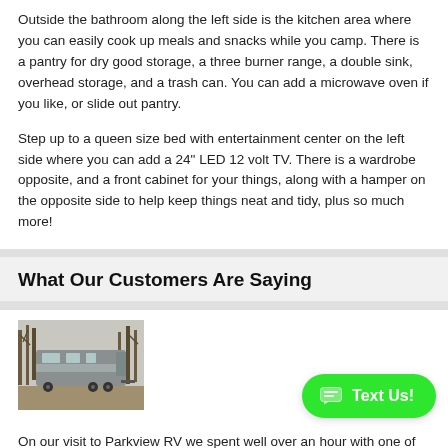Outside the bathroom along the left side is the kitchen area where you can easily cook up meals and snacks while you camp. There is a pantry for dry good storage, a three burner range, a double sink, overhead storage, and a trash can.  You can add a microwave oven if you like, or slide out pantry.
Step up to a queen size bed with entertainment center on the left side where you can add a 24" LED 12 volt TV. There is a wardrobe opposite, and a front cabinet for your things, along with a hamper on the opposite side to help keep things neat and tidy, plus so much more!
What Our Customers Are Saying
[Figure (photo): Photo of an RV/fifth-wheel camper parked among bare trees on a gravel or dirt area.]
On our visit to Parkview RV we spent well over an hour with one of